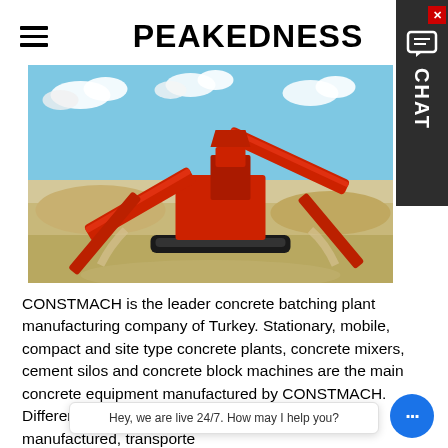PEAKEDNESS
[Figure (photo): Large red mobile screening/crushing machine (heavy construction equipment) on a sandy/gravel quarry site with blue sky and clouds in the background.]
CONSTMACH is the leader concrete batching plant manufacturing company of Turkey. Stationary, mobile, compact and site type concrete plants, concrete mixers, cement silos and concrete block machines are the main concrete equipment manufactured by CONSTMACH. Different types and models from 15 to 300 m3/h capacity are manufactured, transported